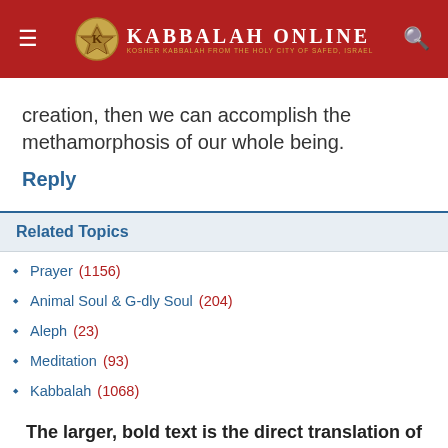Kabbalah Online — Kosher Kabbalah From the Holy City of Safed, Israel
creation, then we can accomplish the methamorphosis of our whole being.
Reply
Related Topics
Prayer (1156)
Animal Soul & G-dly Soul (204)
Aleph (23)
Meditation (93)
Kabbalah (1068)
The larger, bold text is the direct translation of the classic text source...